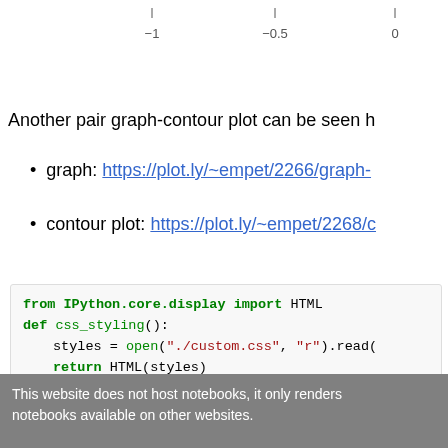[Figure (continuous-plot): Partial view of axis labels showing -1, -0.5, 0 on x-axis]
Another pair graph-contour plot can be seen h
graph: https://plot.ly/~empet/2266/graph-
contour plot: https://plot.ly/~empet/2268/c
from IPython.core.display import HTML
def css_styling():
    styles = open("./custom.css", "r").read(
    return HTML(styles)
css_styling()
This website does not host notebooks, it only renders notebooks available on other websites.